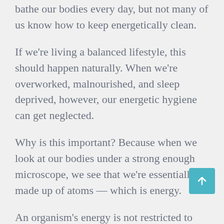bathe our bodies every day, but not many of us know how to keep energetically clean.
If we're living a balanced lifestyle, this should happen naturally. When we're overworked, malnourished, and sleep deprived, however, our energetic hygiene can get neglected.
Why is this important? Because when we look at our bodies under a strong enough microscope, we see that we're essentially made up of atoms — which is energy.
An organism's energy is not restricted to just its physical form but extends outward in an egg shape.
The egg shaped energy is what we call the aura and